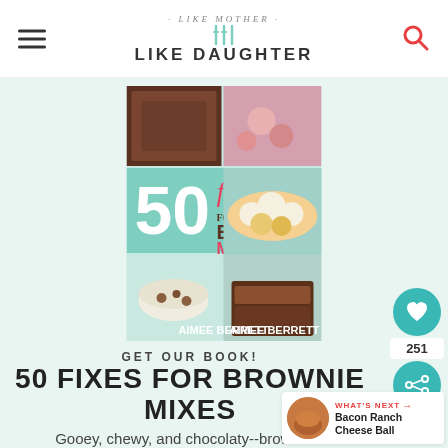· LIKE MOTHER · LIKE DAUGHTER
[Figure (photo): Book cover for '50 Fixes for Brownie Mixes' by Aimee Berrett, showing a collage of brownie and chocolate dessert photos]
GET OUR BOOK! 50 FIXES FOR BROWNIE MIXES
Gooey, chewy, and chocolaty--brownies are